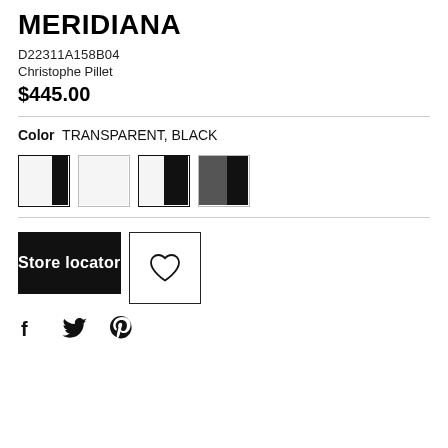MERIDIANA
D22311A158B04
Christophe Pillet
$445.00
Color  TRANSPARENT, BLACK
[Figure (other): Four color swatches: white with black right half, all white, white with black right half (outlined), dark gray with black right half]
Store locator
[Figure (other): Wishlist heart icon button]
[Figure (other): Social media icons: Facebook, Twitter, Pinterest]